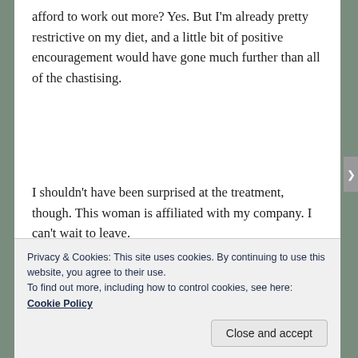afford to work out more? Yes. But I'm already pretty restrictive on my diet, and a little bit of positive encouragement would have gone much further than all of the chastising.
I shouldn't have been surprised at the treatment, though. This woman is affiliated with my company. I can't wait to leave.
Authentically, Aurora
Privacy & Cookies: This site uses cookies. By continuing to use this website, you agree to their use.
To find out more, including how to control cookies, see here: Cookie Policy